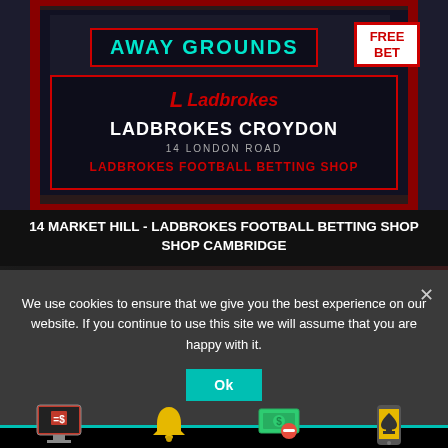[Figure (photo): Ladbrokes betting shop storefront showing 'AWAY GROUNDS' sign in teal on dark background, 'FREE BET' sign in red and white, and a Ladbrokes info board with shop details for Ladbrokes Croydon at 14 London Road, Ladbrokes Football Betting Shop]
14 MARKET HILL - LADBROKES FOOTBALL BETTING SHOP CAMBRIDGE
We use cookies to ensure that we give you the best experience on our website. If you continue to use this site we will assume that you are happy with it.
Ok
[Figure (infographic): Footer navigation with four icons and labels: Best Betting Sites (monitor with dollar sign icon), New Betting Sites (bell icon), Free Betting Sites (cash with minus icon), Mobile Betting Sites (mobile phone with spade icon)]